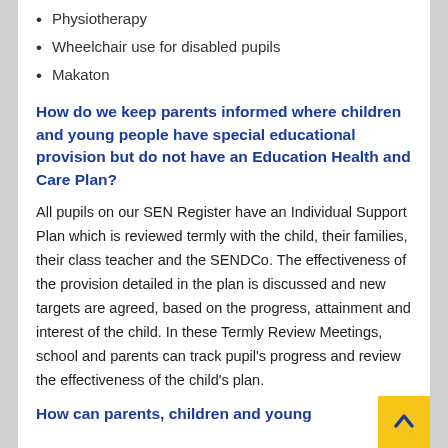Physiotherapy
Wheelchair use for disabled pupils
Makaton
How do we keep parents informed where children and young people have special educational provision but do not have an Education Health and Care Plan?
All pupils on our SEN Register have an Individual Support Plan which is reviewed termly with the child, their families, their class teacher and the SENDCo. The effectiveness of the provision detailed in the plan is discussed and new targets are agreed, based on the progress, attainment and interest of the child. In these Termly Review Meetings, school and parents can track pupil’s progress and review the effectiveness of the child’s plan.
How can parents, children and young